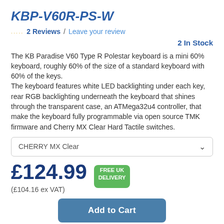KBP-V60R-PS-W
2 Reviews / Leave your review
2 In Stock
The KB Paradise V60 Type R Polestar keyboard is a mini 60% keyboard, roughly 60% of the size of a standard keyboard with 60% of the keys. The keyboard features white LED backlighting under each key, rear RGB backlighting underneath the keyboard that shines through the transparent case, an ATMega32u4 controller, that make the keyboard fully programmable via open source TMK firmware and Cherry MX Clear Hard Tactile switches.
CHERRY MX Clear
£124.99 (£104.16 ex VAT)
[Figure (other): FREE UK DELIVERY badge in green]
Add to Cart